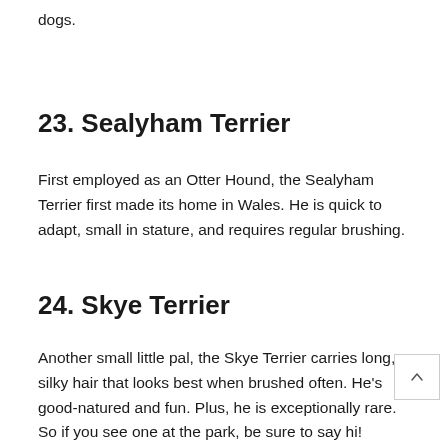dogs.
23. Sealyham Terrier
First employed as an Otter Hound, the Sealyham Terrier first made its home in Wales. He is quick to adapt, small in stature, and requires regular brushing.
24. Skye Terrier
Another small little pal, the Skye Terrier carries long, silky hair that looks best when brushed often. He's good-natured and fun. Plus, he is exceptionally rare. So if you see one at the park, be sure to say hi!